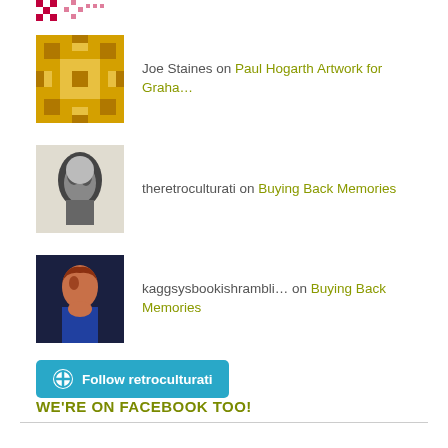[Figure (logo): Pink/red pixel pattern logo at top left]
Joe Staines on Paul Hogarth Artwork for Graha…
theretroculturati on Buying Back Memories
kaggsysbookishrambli… on Buying Back Memories
[Figure (other): Follow retroculturati button with WordPress icon]
WE'RE ON FACEBOOK TOO!